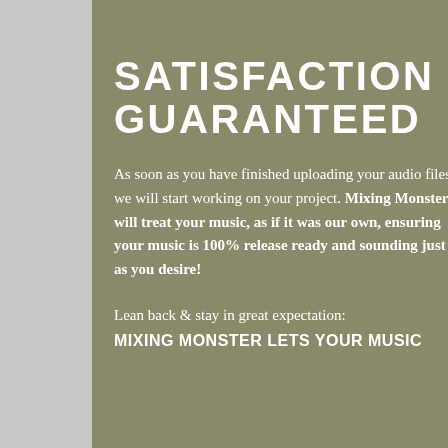SATISFACTION GUARANTEED
As soon as you have finished uploading your audio files, we will start working on your project. Mixing Monster will treat your music, as if it was our own, ensuring your music is 100% release ready and sounding just as you desire!
Lean back & stay in great expectation: MIXING MONSTER LETS YOUR MUSIC
We use cookies to ensure that we give you the best experience on our website. If you continue to use this site we will assume that you are happy with it.